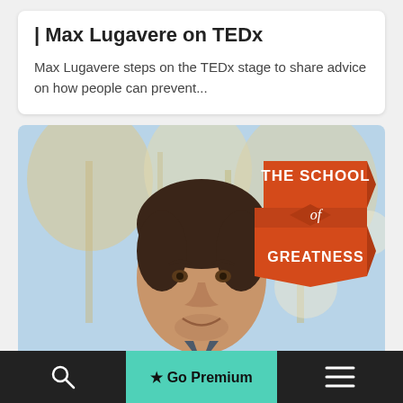| Max Lugavere on TEDx
Max Lugavere steps on the TEDx stage to share advice on how people can prevent...
[Figure (photo): Man smiling outdoors with trees in background, wearing a grey denim shirt. The School of Greatness logo overlay in top right corner.]
★ Go Premium